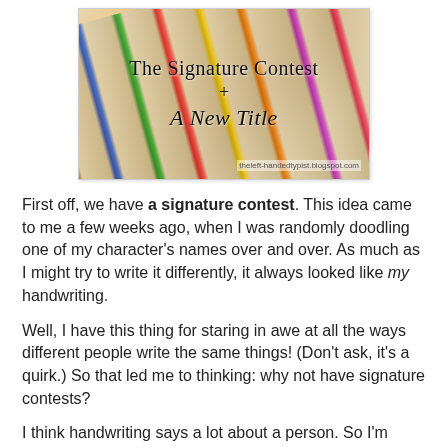[Figure (illustration): Blog post header image showing colored pencils in the background with text overlay reading 'The Signature Contest + A New Title' and watermark 'theleft-handedtypist.blogspot.com']
First off, we have a signature contest. This idea came to me a few weeks ago, when I was randomly doodling one of my character's names over and over. As much as I might try to write it differently, it always looked like my handwriting.
Well, I have this thing for staring in awe at all the ways different people write the same things! (Don't ask, it's a quirk.) So that led me to thinking: why not have signature contests?
I think handwriting says a lot about a person. So I'm going to give you my characters "profiles" telling you how I perceive their handwriting (and therefore signature). They will be